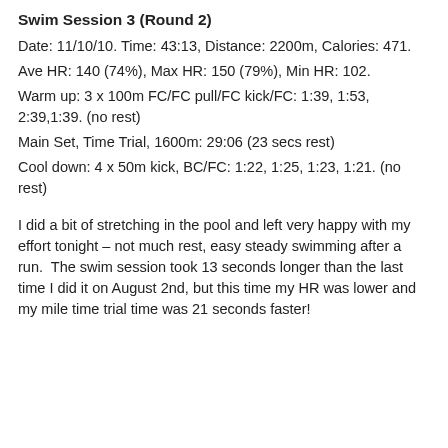Swim Session 3 (Round 2)
Date: 11/10/10. Time: 43:13, Distance: 2200m, Calories: 471.
Ave HR: 140 (74%), Max HR: 150 (79%), Min HR: 102.
Warm up: 3 x 100m FC/FC pull/FC kick/FC: 1:39, 1:53, 2:39,1:39. (no rest)
Main Set, Time Trial, 1600m: 29:06 (23 secs rest)
Cool down: 4 x 50m kick, BC/FC: 1:22, 1:25, 1:23, 1:21. (no rest)
I did a bit of stretching in the pool and left very happy with my effort tonight – not much rest, easy steady swimming after a run.  The swim session took 13 seconds longer than the last time I did it on August 2nd, but this time my HR was lower and my mile time trial time was 21 seconds faster!